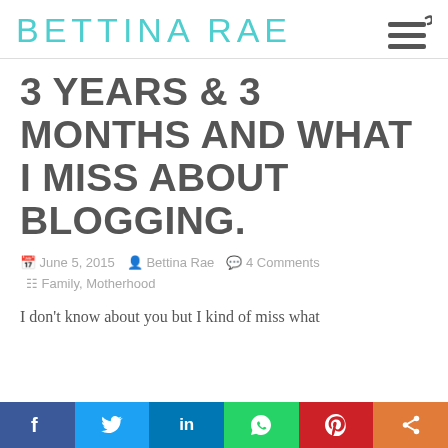BETTINA RAE
3 YEARS & 3 MONTHS AND WHAT I MISS ABOUT BLOGGING.
June 5, 2015  Bettina Rae  4 Comments  Family, Motherhood
I don't know about you but I kind of miss what
f  t  in  [whatsapp]  P  [share]